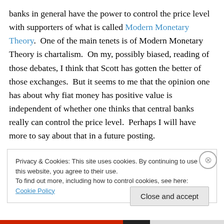banks in general have the power to control the price level with supporters of what is called Modern Monetary Theory.  One of the main tenets is of Modern Monetary Theory is chartalism.  On my, possibly biased, reading of those debates, I think that Scott has gotten the better of those exchanges.  But it seems to me that the opinion one has about why fiat money has positive value is independent of whether one thinks that central banks really can control the price level.  Perhaps I will have more to say about that in a future posting.
Privacy & Cookies: This site uses cookies. By continuing to use this website, you agree to their use.
To find out more, including how to control cookies, see here: Cookie Policy